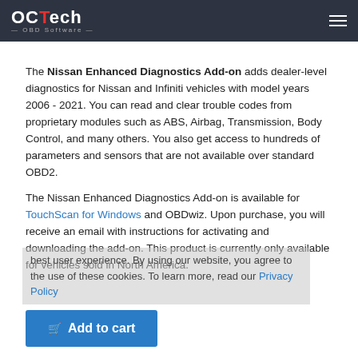OCTech — OBD Software
The Nissan Enhanced Diagnostics Add-on adds dealer-level diagnostics for Nissan and Infiniti vehicles with model years 2006 - 2021. You can read and clear trouble codes from proprietary modules such as ABS, Airbag, Transmission, Body Control, and many others. You also get access to hundreds of parameters and sensors that are not available over standard OBD2.
The Nissan Enhanced Diagnostics Add-on is available for TouchScan for Windows and OBDwiz. Upon purchase, you will receive an email with instructions for activating and downloading the add-on. This product is currently only available for vehicles sold in North America.